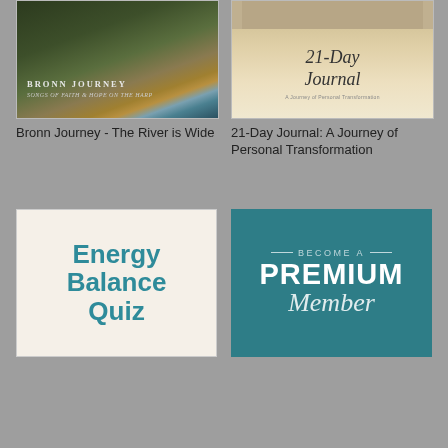[Figure (illustration): Book/album cover for 'Bronn Journey - Songs of Faith & Hope on the Harp' showing a dark nature landscape with water reflection and glowing light]
Bronn Journey - The River is Wide
[Figure (illustration): Cover of '21-Day Journal: A Journey of Personal Transformation' showing handwritten script title on a light tan/cream background with a wooden surface at top]
21-Day Journal: A Journey of Personal Transformation
[Figure (illustration): Energy Balance Quiz promotional image with teal text on light beige background with border]
[Figure (illustration): Become a Premium Member promotional banner with white text on teal/dark cyan background]